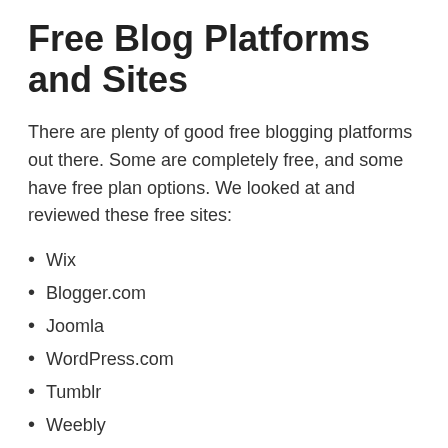Free Blog Platforms and Sites
There are plenty of good free blogging platforms out there. Some are completely free, and some have free plan options. We looked at and reviewed these free sites:
Wix
Blogger.com
Joomla
WordPress.com
Tumblr
Weebly
Medium.com